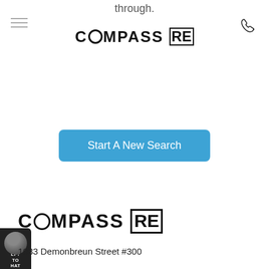through.
[Figure (logo): Compass RE logo with compass O and boxed RE, top center]
Start A New Search
[Figure (illustration): Chat widget with agent avatar, dark background, partial text visible: LF? TO HAT]
[Figure (logo): Compass RE logo with compass O and boxed RE, bottom left]
1033 Demonbreun Street #300